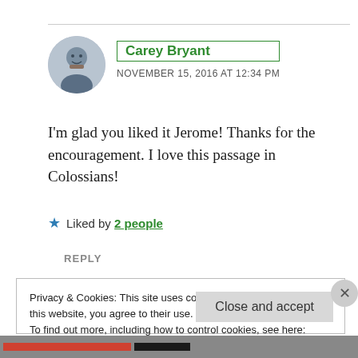[Figure (photo): Circular avatar photo of Carey Bryant, a man with a beard wearing a suit]
Carey Bryant
NOVEMBER 15, 2016 AT 12:34 PM
I'm glad you liked it Jerome! Thanks for the encouragement. I love this passage in Colossians!
★ Liked by 2 people
REPLY
Privacy & Cookies: This site uses cookies. By continuing to use this website, you agree to their use.
To find out more, including how to control cookies, see here: Cookie Policy
Close and accept